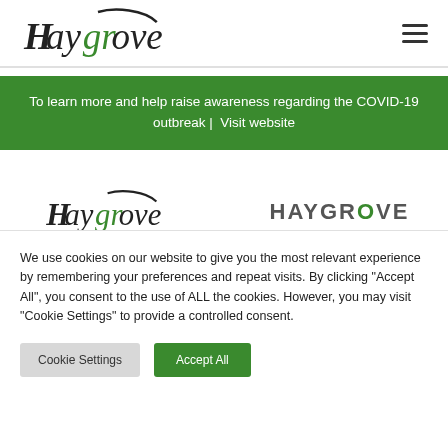Haygrove [logo] [hamburger menu]
To learn more and help raise awareness regarding the COVID-19 outbreak |  Visit website
[Figure (logo): Haygrove logo with green circular motif and black text]
[Figure (logo): Haygrove all-caps wordmark in grey with green O]
We use cookies on our website to give you the most relevant experience by remembering your preferences and repeat visits. By clicking "Accept All", you consent to the use of ALL the cookies. However, you may visit "Cookie Settings" to provide a controlled consent.
Cookie Settings  Accept All